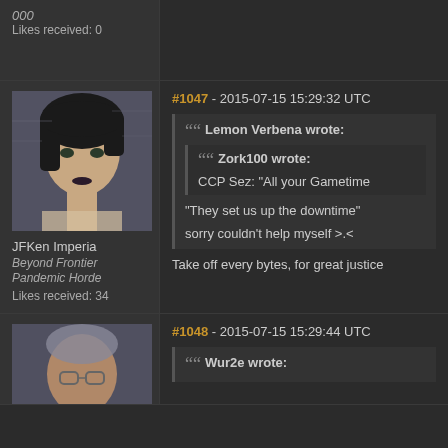000
Likes received: 0
[Figure (photo): Avatar of JFKen Imperia, a dark-haired female 3D character portrait]
JFKen Imperia
Beyond Frontier
Pandemic Horde
Likes received: 34
#1047 - 2015-07-15 15:29:32 UTC
Lemon Verbena wrote:
Zork100 wrote:
CCP Sez: "All your Gametime
"They set us up the downtime"
sorry couldn't help myself >.<
Take off every bytes, for great justice
[Figure (photo): Avatar of a male character, partial view at bottom]
#1048 - 2015-07-15 15:29:44 UTC
Wur2e wrote: